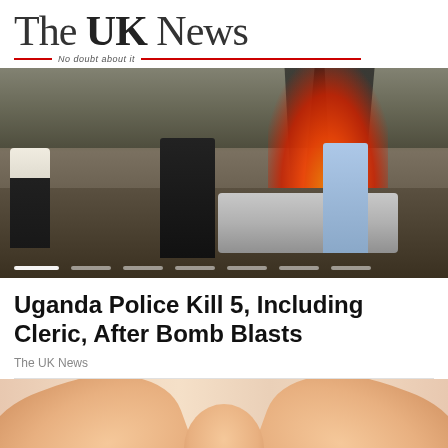The UK News — No doubt about it
[Figure (photo): Armed police officer in black uniform and mask stands in foreground with burning vehicles and black smoke in background, with Red Cross worker and bystanders visible]
Uganda Police Kill 5, Including Cleric, After Bomb Blasts
The UK News
[Figure (photo): Close-up image of hands, appears to show fingers or hands in soft focus]